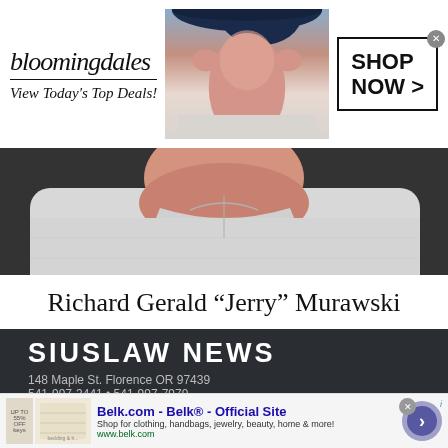[Figure (screenshot): Bloomingdales ad banner showing logo, 'View Today's Top Deals!', model with large hat, and 'SHOP NOW >' button]
[Figure (photo): Close-up photo of Richard Gerald 'Jerry' Murawski, showing his neck and upper chest in a light grey shirt]
Richard Gerald “Jerry” Murawski
[Figure (logo): Siuslaw News logo with address 148 Maple St. Florence OR 97439 and phone 541-997-3441 • 541-997-7979 on dark background]
[Figure (screenshot): Belk.com advertisement - Belk® - Official Site. Shop for clothing, handbags, jewelry, beauty, home & more! www.belk.com]